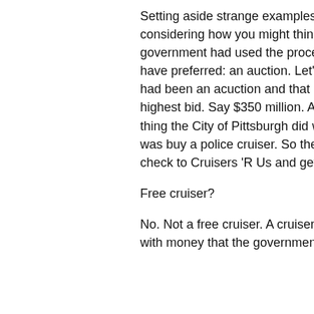Setting aside strange examples, try considering how you might think of this if the government had used the process you would have preferred: an auction. Let's say that there had been an acuction and that IOC offered the highest bid. Say $350 million. And the first thing the City of Pittsburgh did with its money was buy a police cruiser. So the city writes a check to Cruisers 'R Us and gets the cruiser.
Free cruiser?
No. Not a free cruiser. A cruiser purchased with money that the government generated